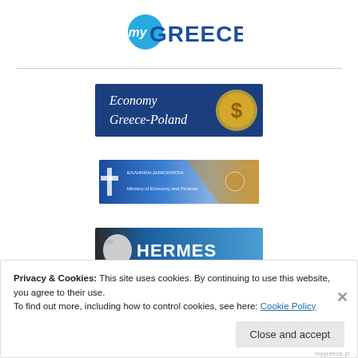[Figure (logo): myGREECE logo with blue circular icon containing 'my' text and bold blue GREECE text]
[Figure (illustration): Economy Greece-Poland banner with gold dollar coin on dark blue background]
[Figure (illustration): Ministry/organization banner with Greek flag motif and blue background]
[Figure (illustration): HERMES Association of Greek Entrepreneurs in Poland banner with blue gradient and classical figure]
Privacy & Cookies: This site uses cookies. By continuing to use this website, you agree to their use.
To find out more, including how to control cookies, see here: Cookie Policy
Close and accept